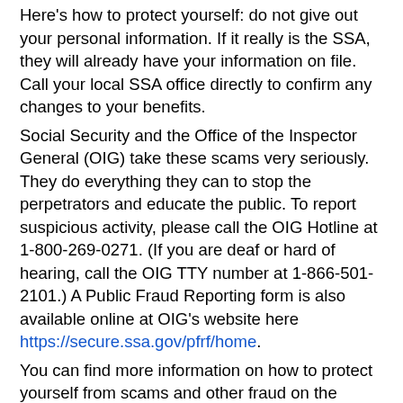Here's how to protect yourself: do not give out your personal information. If it really is the SSA, they will already have your information on file. Call your local SSA office directly to confirm any changes to your benefits. Social Security and the Office of the Inspector General (OIG) take these scams very seriously. They do everything they can to stop the perpetrators and educate the public. To report suspicious activity, please call the OIG Hotline at 1-800-269-0271. (If you are deaf or hard of hearing, call the OIG TTY number at 1-866-501-2101.) A Public Fraud Reporting form is also available online at OIG's website here https://secure.ssa.gov/pfrf/home. You can find more information on how to protect yourself from scams and other fraud on the PCSO website here https://www.polksheriff.org/news-investigations/scam-reporting.